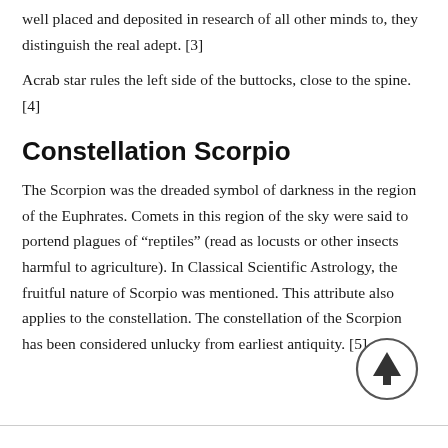well placed and deposited in research of all other minds to, they distinguish the real adept. [3]
Acrab star rules the left side of the buttocks, close to the spine. [4]
Constellation Scorpio
The Scorpion was the dreaded symbol of darkness in the region of the Euphrates. Comets in this region of the sky were said to portend plagues of “reptiles” (read as locusts or other insects harmful to agriculture). In Classical Scientific Astrology, the fruitful nature of Scorpio was mentioned. This attribute also applies to the constellation. The constellation of the Scorpion has been considered unlucky from earliest antiquity. [5]